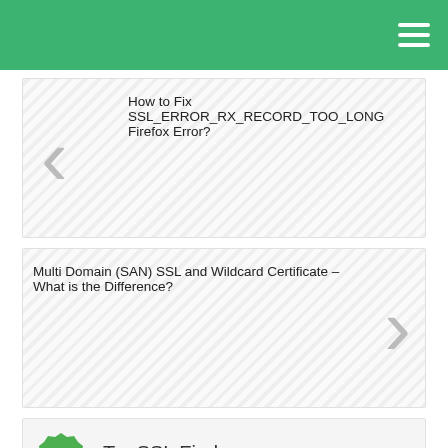[Figure (screenshot): Green top navigation bar with hamburger menu icon]
How to Fix SSL_ERROR_RX_RECORD_TOO_LONG Firefox Error?
Multi Domain (SAN) SSL and Wildcard Certificate – What is the Difference?
Try SSL Finder
SSL KB
Why ClickSSL?
SSL Renewals